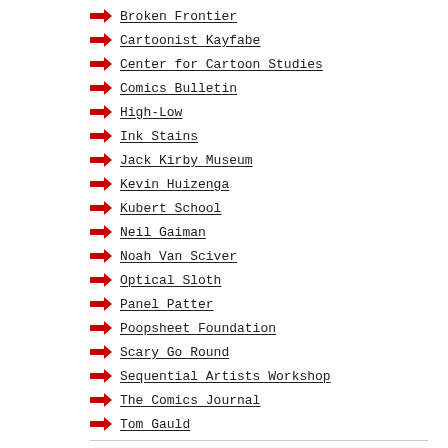Broken Frontier
Cartoonist Kayfabe
Center for Cartoon Studies
Comics Bulletin
High-Low
Ink Stains
Jack Kirby Museum
Kevin Huizenga
Kubert School
Neil Gaiman
Noah Van Sciver
Optical Sloth
Panel Patter
Poopsheet Foundation
Scary Go Round
Sequential Artists Workshop
The Comics Journal
Tom Gauld
DO THE RIGHT THING